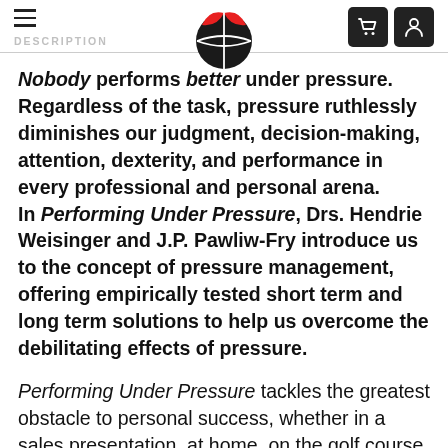DESCRIPTION
Nobody performs better under pressure. Regardless of the task, pressure ruthlessly diminishes our judgment, decision-making, attention, dexterity, and performance in every professional and personal arena. In Performing Under Pressure, Drs. Hendrie Weisinger and J.P. Pawliw-Fry introduce us to the concept of pressure management, offering empirically tested short term and long term solutions to help us overcome the debilitating effects of pressure.
Performing Under Pressure tackles the greatest obstacle to personal success, whether in a sales presentation, at home, on the golf course, interviewing for a job, or performing onstage at Carnegie Hall. Despite sports mythology, no one “rises to the occasion”